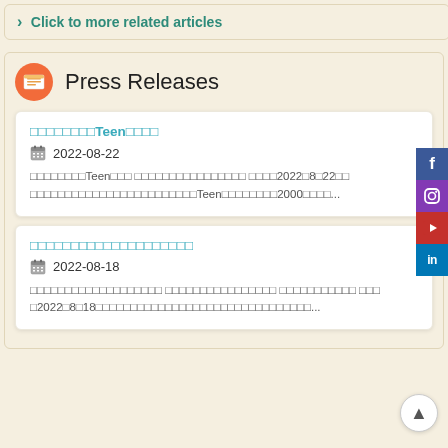> Click to more related articles
Press Releases
□□□□□□□□Teen□□□□
2022-08-22
□□□□□□□□Teen□□□ □□□□□□□□□□□□□□□□ □□□□2022□8□22□□ □□□□□□□□□□□□□□□□□□□□□□□□Teen□□□□□□□□2000□□□□...
□□□□□□□□□□□□□□□□□□□□
2022-08-18
□□□□□□□□□□□□□□□□□□□ □□□□□□□□□□□□□□□□ □□□□□□□□□□□ □□□2022□8□18□□□□□□□□□□□□□□□□□□□□□□□□□□□□□□□□□...